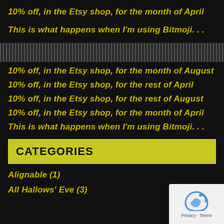10% off, in the Etsy shop, for the month of April
This is what happens when I'm using Bitmoji. . .
10% off, in the Etsy shop, for the month of August
10% off, in the Etsy shop, for the rest of April
10% off, in the Etsy shop, for the rest of August
10% off, in the Etsy shop, for the month of April
This is what happens when I'm using Bitmoji. . .
CATEGORIES
Alignable (1)
All Hallows' Eve (3)